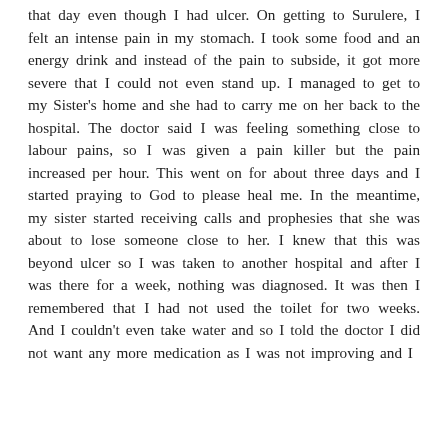that day even though I had ulcer. On getting to Surulere, I felt an intense pain in my stomach. I took some food and an energy drink and instead of the pain to subside, it got more severe that I could not even stand up. I managed to get to my Sister's home and she had to carry me on her back to the hospital. The doctor said I was feeling something close to labour pains, so I was given a pain killer but the pain increased per hour. This went on for about three days and I started praying to God to please heal me. In the meantime, my sister started receiving calls and prophesies that she was about to lose someone close to her. I knew that this was beyond ulcer so I was taken to another hospital and after I was there for a week, nothing was diagnosed. It was then I remembered that I had not used the toilet for two weeks. And I couldn't even take water and so I told the doctor I did not want any more medication as I was not improving and I